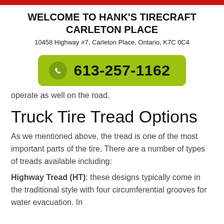WELCOME TO HANK'S TIRECRAFT CARLETON PLACE
10458 Highway #7, Carleton Place, Ontario, K7C 0C4
[Figure (infographic): Green rounded button with phone icon and number 613-257-1162]
operate as well on the road.
Truck Tire Tread Options
As we mentioned above, the tread is one of the most important parts of the tire. There are a number of types of treads available including:
Highway Tread (HT): these designs typically come in the traditional style with four circumferential grooves for water evacuation. In